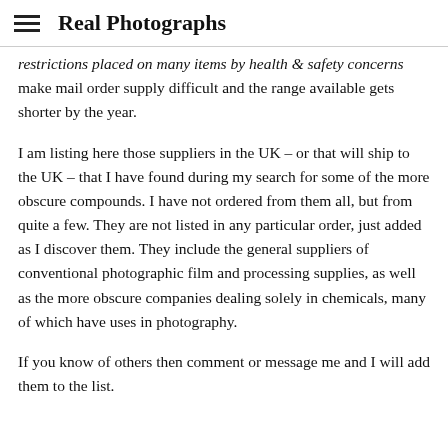Real Photographs
restrictions placed on many items by health & safety concerns make mail order supply difficult and the range available gets shorter by the year.
I am listing here those suppliers in the UK – or that will ship to the UK – that I have found during my search for some of the more obscure compounds. I have not ordered from them all, but from quite a few. They are not listed in any particular order, just added as I discover them. They include the general suppliers of conventional photographic film and processing supplies, as well as the more obscure companies dealing solely in chemicals, many of which have uses in photography.
If you know of others then comment or message me and I will add them to the list.